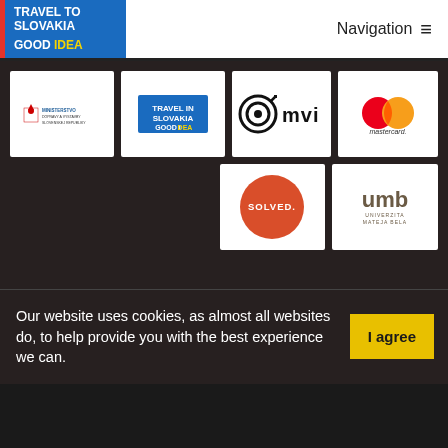[Figure (logo): Travel to Slovakia Good Idea logo - blue background with white text TRAVEL TO SLOVAKIA and yellow GOOD IDEA]
Navigation ☰
[Figure (logo): Ministerstvo dopravy a výstavby Slovenskej republiky logo]
[Figure (logo): Travel in Slovakia Good Idea logo]
[Figure (logo): MVI logo with target/crosshair icon]
[Figure (logo): Mastercard logo - red and orange overlapping circles]
[Figure (logo): SOLVED. logo - white text on orange circle]
[Figure (logo): UMB Univerzita Mateja Bela logo]
Our website uses cookies, as almost all websites do, to help provide you with the best experience we can.
I agree